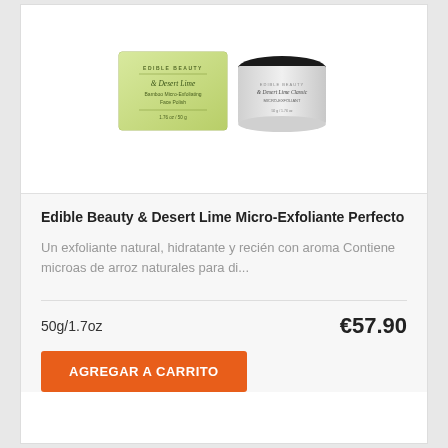[Figure (photo): Product photo showing two Edible Beauty & Desert Lime items: a green rectangular box on the left and a dark-lidded jar on the right]
Edible Beauty & Desert Lime Micro-Exfoliante Perfecto
Un exfoliante natural, hidratante y recién con aroma Contiene microas de arroz naturales para di...
50g/1.7oz
€57.90
AGREGAR A CARRITO